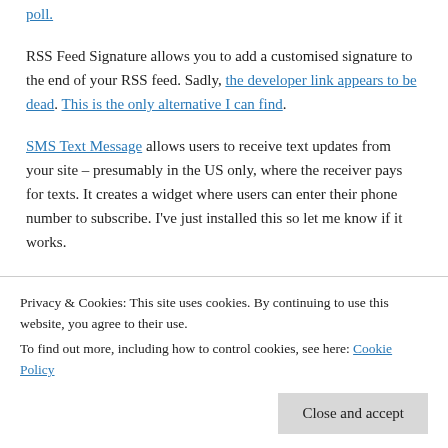RSS Feed Signature allows you to add a customised signature to the end of your RSS feed. Sadly, the developer link appears to be dead. This is the only alternative I can find.
SMS Text Message allows users to receive text updates from your site – presumably in the US only, where the receiver pays for texts. It creates a widget where users can enter their phone number to subscribe. I've just installed this so let me know if it works.
Analytics, SEO and Social Media Marketing
Privacy & Cookies: This site uses cookies. By continuing to use this website, you agree to their use. To find out more, including how to control cookies, see here: Cookie Policy
Close and accept
description and metatags on individual posts.